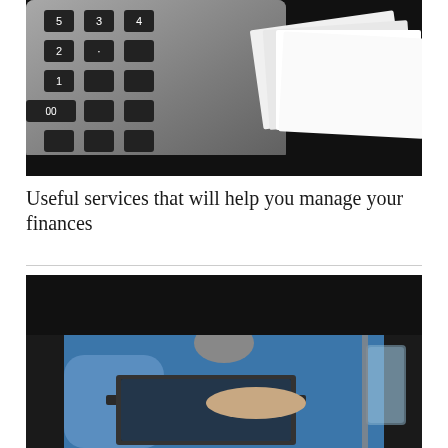[Figure (photo): Close-up photo of a calculator with black keys and silver body, and a stack of white papers/documents arranged in the background, all on a dark surface]
Useful services that will help you manage your finances
[Figure (photo): Photo of a person wearing a blue sweater/jacket working on a laptop computer, with a glass visible on the right side, dark background]